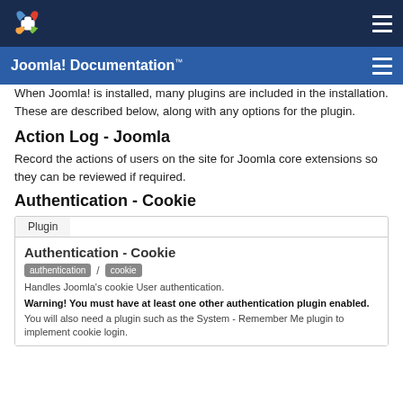Joomla! Documentation™
When Joomla! is installed, many plugins are included in the installation. These are described below, along with any options for the plugin.
Action Log - Joomla
Record the actions of users on the site for Joomla core extensions so they can be reviewed if required.
Authentication - Cookie
Plugin
Authentication - Cookie
authentication / cookie
Handles Joomla's cookie User authentication.
Warning! You must have at least one other authentication plugin enabled.
You will also need a plugin such as the System - Remember Me plugin to implement cookie login.